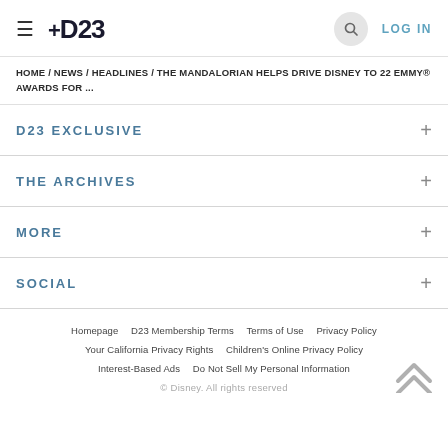D23 | LOG IN
HOME / NEWS / HEADLINES / THE MANDALORIAN HELPS DRIVE DISNEY TO 22 EMMY® AWARDS FOR ...
D23 EXCLUSIVE
THE ARCHIVES
MORE
SOCIAL
Homepage   D23 Membership Terms   Terms of Use   Privacy Policy   Your California Privacy Rights   Children's Online Privacy Policy   Interest-Based Ads   Do Not Sell My Personal Information   © Disney. All rights reserved